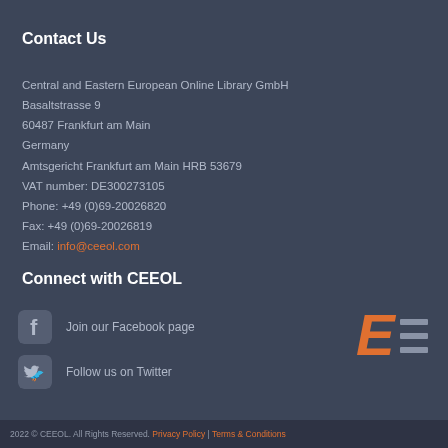Contact Us
Central and Eastern European Online Library GmbH
Basaltstrasse 9
60487 Frankfurt am Main
Germany
Amtsgericht Frankfurt am Main HRB 53679
VAT number: DE300273105
Phone: +49 (0)69-20026820
Fax: +49 (0)69-20026819
Email: info@ceeol.com
Connect with CEEOL
Join our Facebook page
Follow us on Twitter
[Figure (logo): CEEOL logo in orange and white]
2022 © CEEOL. All Rights Reserved. Privacy Policy | Terms & Conditions